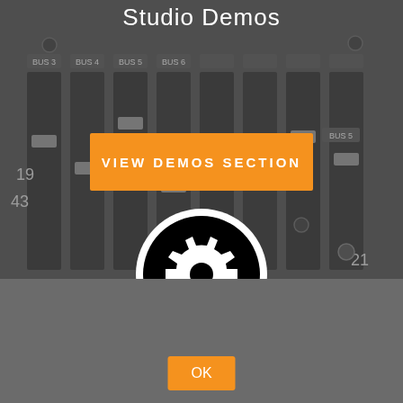Studio Demos
[Figure (screenshot): Blurred photo of an audio mixing console with faders and channel strips, dark grey tones]
[Figure (illustration): Orange rounded rectangle button with text 'View Demos section' in white uppercase letters]
[Figure (illustration): Black circle with white gear/settings icon centered inside it, white border ring around circle]
Recording Gear
We use cookies to ensure that we give you the best experience on our website. If you continue to use this site we will assume that you are happy with it.
[Figure (illustration): Orange OK button]